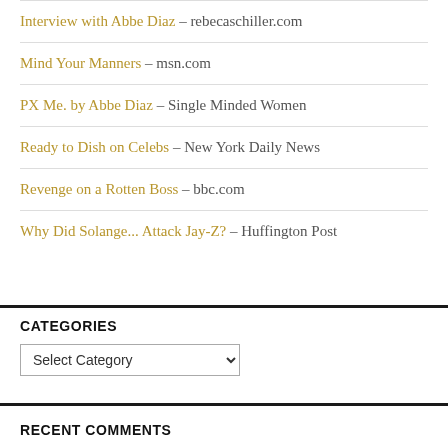Interview with Abbe Diaz – rebecaschiller.com
Mind Your Manners – msn.com
PX Me. by Abbe Diaz – Single Minded Women
Ready to Dish on Celebs – New York Daily News
Revenge on a Rotten Boss – bbc.com
Why Did Solange... Attack Jay-Z? – Huffington Post
CATEGORIES
RECENT COMMENTS